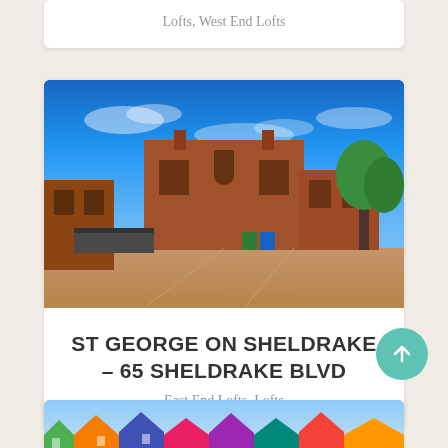Lofts, West End Lofts
[Figure (photo): Exterior photo of a red brick loft building complex (St George on Sheldrake) under a bright blue sky with trees visible on the right side. The building features arched windows and multiple interconnected brick structures with a parking/courtyard area in front.]
ST GEORGE ON SHELDRAKE – 65 SHELDRAKE BLVD
East End Lofts, Lofts
[Figure (photo): Partial view of colorful rooftops of houses or townhomes under a partly cloudy blue sky — cropped at bottom of page.]